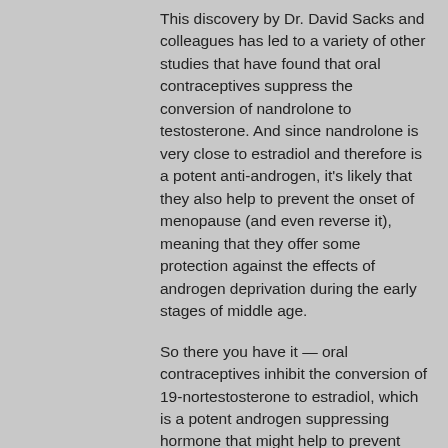This discovery by Dr. David Sacks and colleagues has led to a variety of other studies that have found that oral contraceptives suppress the conversion of nandrolone to testosterone. And since nandrolone is very close to estradiol and therefore is a potent anti-androgen, it's likely that they also help to prevent the onset of menopause (and even reverse it), meaning that they offer some protection against the effects of androgen deprivation during the early stages of middle age.
So there you have it — oral contraceptives inhibit the conversion of 19-nortestosterone to estradiol, which is a potent androgen suppressing hormone that might help to prevent post-menopausal menopause. As you can see from these two examples, the fact that 19-norhrogenein has been found to suppress the conversion of nandrolone to